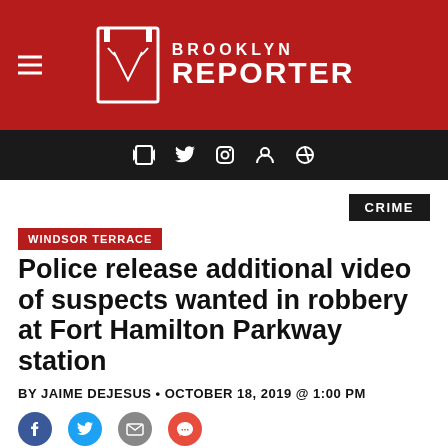BROOKLYN REPORTER
CRIME
WINDSOR TERRACE
Police release additional video of suspects wanted in robbery at Fort Hamilton Parkway station
BY JAIME DEJESUS • OCTOBER 18, 2019 @ 1:00 PM
[Figure (photo): Partial view of a surveillance photo showing a suspect at a subway station]